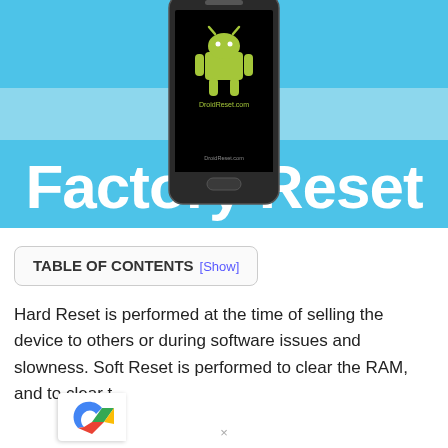[Figure (illustration): Blue banner image with large white text 'Factory Reset' and an Android phone graphic in the center showing the Android robot logo and DroidReset.com text on screen]
TABLE OF CONTENTS [Show]
Hard Reset is performed at the time of selling the device to others or during software issues and slowness. Soft Reset is performed to clear the RAM, and to clear t...